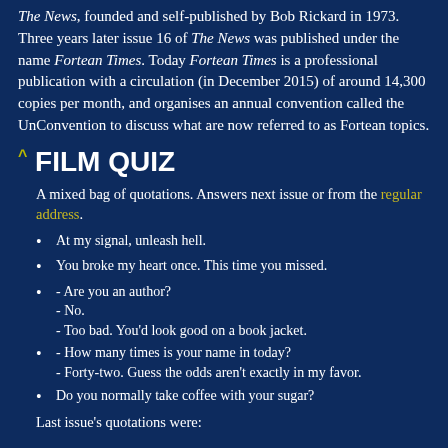The News, founded and self-published by Bob Rickard in 1973. Three years later issue 16 of The News was published under the name Fortean Times. Today Fortean Times is a professional publication with a circulation (in December 2015) of around 14,300 copies per month, and organises an annual convention called the UnConvention to discuss what are now referred to as Fortean topics.
^ FILM QUIZ
A mixed bag of quotations. Answers next issue or from the regular address.
At my signal, unleash hell.
You broke my heart once. This time you missed.
- Are you an author?
- No.
- Too bad. You'd look good on a book jacket.
- How many times is your name in today?
- Forty-two. Guess the odds aren't exactly in my favor.
Do you normally take coffee with your sugar?
Last issue's quotations were: